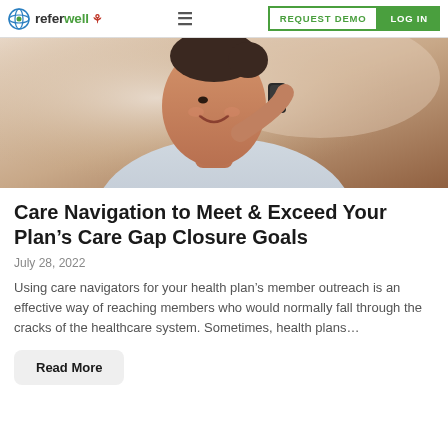referwell | REQUEST DEMO | LOG IN
[Figure (photo): Woman smiling while talking on a phone, close-up portrait, medical/healthcare context]
Care Navigation to Meet & Exceed Your Plan’s Care Gap Closure Goals
July 28, 2022
Using care navigators for your health plan’s member outreach is an effective way of reaching members who would normally fall through the cracks of the healthcare system. Sometimes, health plans…
Read More